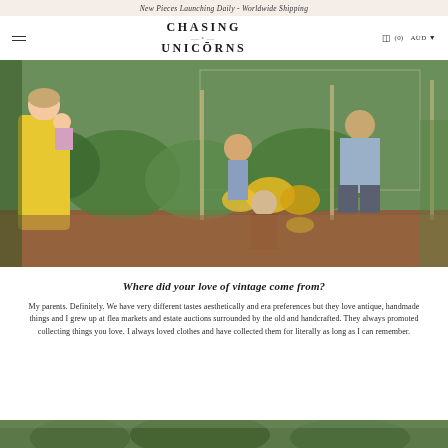New Pieces Launching Daily - Worldwide Shipping
CHASING UNICORNS
[Figure (photo): Family gardening together in an outdoor vegetable and flower garden. A woman in a yellow dress holds a baby, while children and an adult crouch and tend to the plants including kale and marigolds.]
Where did your love of vintage come from?
My parents. Definitely. We have very different tastes aesthetically and era preferences but they love antique, handmade things and I grew up at flea markets and estate auctions surrounded by the old and handcrafted. They always promoted collecting things you love. I always loved clothes and have collected them for literally as long as I can remember.
[Figure (photo): Partial view of another outdoor scene, visible at the bottom of the page.]